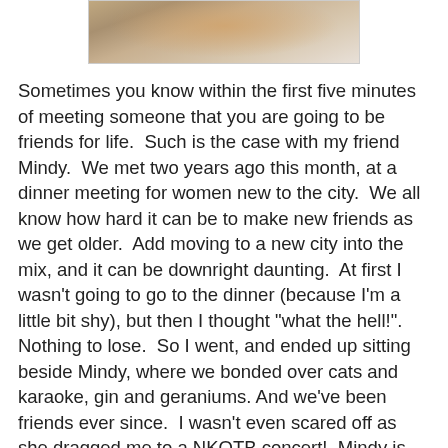[Figure (photo): Partial photo of food on a plate, cropped at top of page]
Sometimes you know within the first five minutes of meeting someone that you are going to be friends for life.  Such is the case with my friend Mindy.  We met two years ago this month, at a dinner meeting for women new to the city.  We all know how hard it can be to make new friends as we get older.  Add moving to a new city into the mix, and it can be downright daunting.  At first I wasn't going to go to the dinner (because I'm a little bit shy), but then I thought "what the hell!".  Nothing to lose.  So I went, and ended up sitting beside Mindy, where we bonded over cats and karaoke, gin and geraniums. And we've been friends ever since.  I wasn't even scared off as she dragged me to a NKOTB concert!  Mindy is the kind of friend you want in your corner.  She was with me in that small, sad room, as I put my beloved cat to sleep, handing me Kleenex and letting me sob uncontrollably on her shoulder.  She's tagged along as I stalked, er, "investigated" potential mates.  Mindy has pretty much made it her mission to find me a boyfriend, and I think she tries